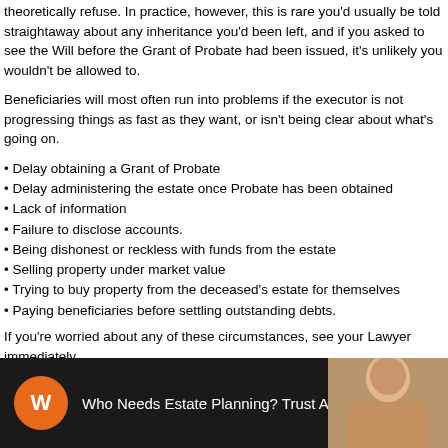theoretically refuse. In practice, however, this is rare you'd usually be told straightaway about any inheritance you'd been left, and if you asked to see the Will before the Grant of Probate had been issued, it's unlikely you wouldn't be allowed to.
Beneficiaries will most often run into problems if the executor is not progressing things as fast as they want, or isn't being clear about what's going on.
Delay obtaining a Grant of Probate
Delay administering the estate once Probate has been obtained
Lack of information
Failure to disclose accounts.
Being dishonest or reckless with funds from the estate
Selling property under market value
Trying to buy property from the deceased's estate for themselves
Paying beneficiaries before settling outstanding debts.
If you're worried about any of these circumstances, see your Lawyer immediately.
[Figure (screenshot): Video thumbnail for 'Who Needs Estate Planning? Trust A...' with orange W icon and a person visible in background]